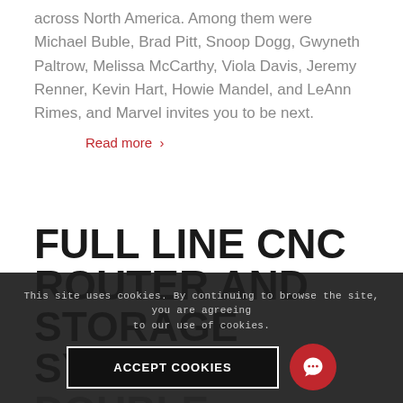across North America. Among them were Michael Buble, Brad Pitt, Snoop Dogg, Gwyneth Paltrow, Melissa McCarthy, Viola Davis, Jeremy Renner, Kevin Hart, Howie Mandel, and LeAnn Rimes, and Marvel invites you to be next.
Read more >
FULL LINE CNC ROUTER AND STORAGE SYSTEM DOUBLE PRODUCTION AND MORE TIMES.
This site uses cookies. By continuing to browse the site, you are agreeing to our use of cookies.
ACCEPT COOKIES